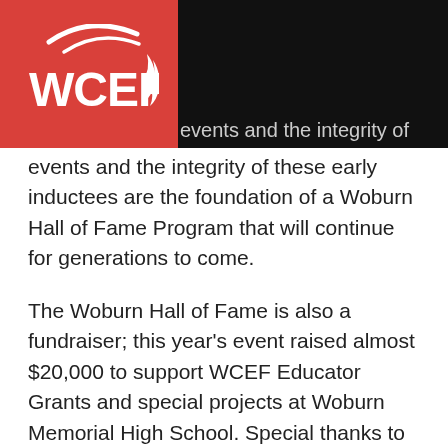WCEF
events and the integrity of these early inductees are the foundation of a Woburn Hall of Fame Program that will continue for generations to come.
The Woburn Hall of Fame is also a fundraiser; this year's event raised almost $20,000 to support WCEF Educator Grants and special projects at Woburn Memorial High School. Special thanks to our event sponsors, who helped ensure this success: Silver Sponsor North Suburban Transportation; Bronze Sponsors Boston Bean Coffee Company, The